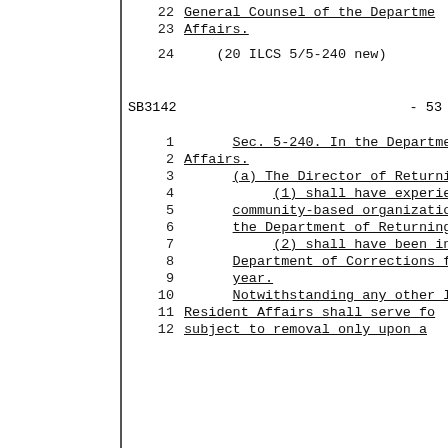22    General Counsel of the Department
23    Affairs.
24        (20 ILCS 5/5-240 new)
SB3142                          - 53
1         Sec. 5-240. In the Department
2    Affairs.
3         (a) The Director of Returni
4              (1) shall have experien
5         community-based organizatio
6         the Department of Returning
7              (2) shall have been inc
8         Department of Corrections f
9         year.
10        Notwithstanding any other l
11   Resident Affairs shall serve fo
12   subject to removal only upon a